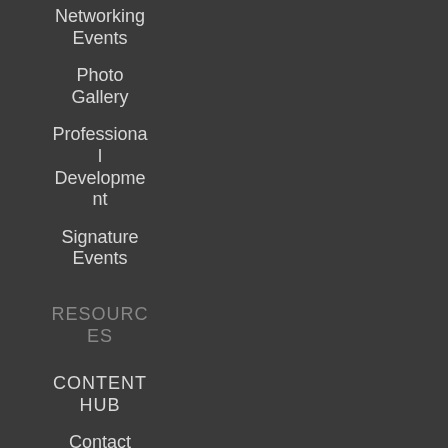Networking Events
Photo Gallery
Professional Development
Signature Events
RESOURCES
CONTENT HUB
Contact
Sitemap